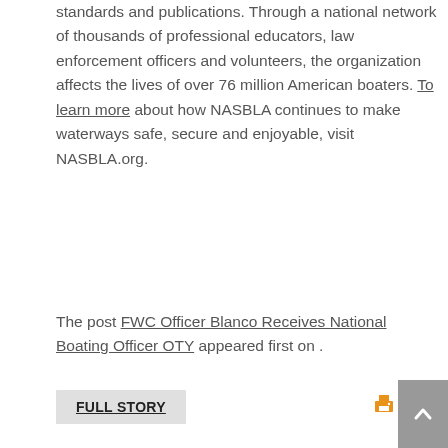standards and publications. Through a national network of thousands of professional educators, law enforcement officers and volunteers, the organization affects the lives of over 76 million American boaters. To learn more about how NASBLA continues to make waterways safe, secure and enjoyable, visit NASBLA.org.
The post FWC Officer Blanco Receives National Boating Officer OTY appeared first on .
FULL STORY
print
[Figure (infographic): Social media sharing icons: Facebook, Twitter, Google+, Tumblr, LinkedIn, Buffer, StumbleUpon, Email, Print]
RATE: followed by 5 filled star icons